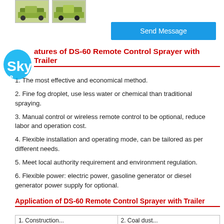[Figure (photo): Two thumbnail images of DS-60 Remote Control Sprayer with Trailer]
Send Message
Features of DS-60 Remote Control Sprayer with Trailer
1. The most effective and economical method.
2. Fine fog droplet, use less water or chemical than traditional spraying.
3. Manual control or wireless remote control to be optional, reduce labor and operation cost.
4. Flexible installation and operating mode, can be tailored as per different needs.
5. Meet local authority requirement and environment regulation.
6. Flexible power: electric power, gasoline generator or diesel generator power supply for optional.
Application of DS-60 Remote Control Sprayer with Trailer
| 1. Construction... | 2. Coal dust... |
| --- | --- |